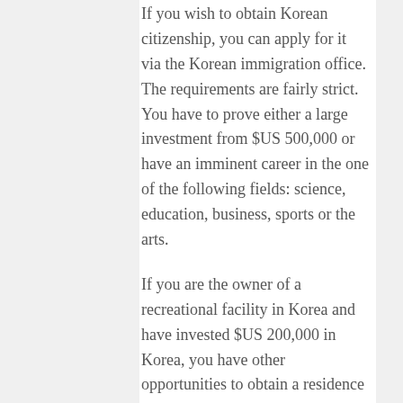If you wish to obtain Korean citizenship, you can apply for it via the Korean immigration office. The requirements are fairly strict. You have to prove either a large investment from $US 500,000 or have an imminent career in the one of the following fields: science, education, business, sports or the arts.
If you are the owner of a recreational facility in Korea and have invested $US 200,000 in Korea, you have other opportunities to obtain a residence permit.
Additionally, you have the option to obtain a residence permit if you are a Korean national that has received a foreign nationality in the past. Also minors or